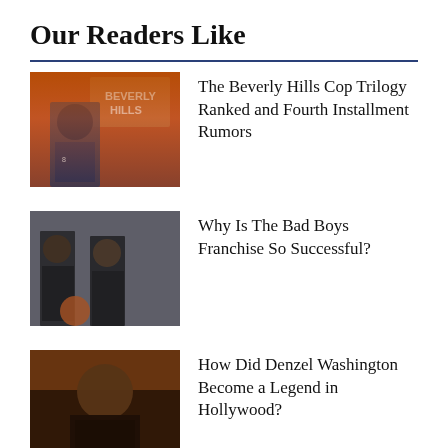Our Readers Like
The Beverly Hills Cop Trilogy Ranked and Fourth Installment Rumors
Why Is The Bad Boys Franchise So Successful?
How Did Denzel Washington Become a Legend in Hollywood?
The Total Cost of Creating The 'Fast and